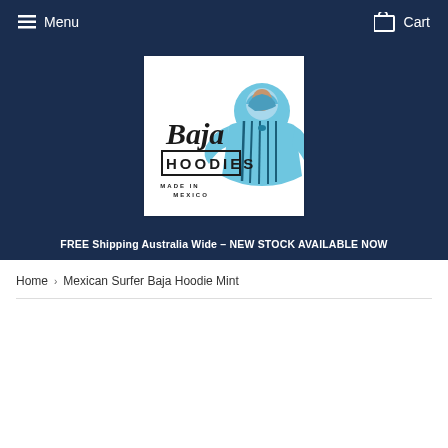Menu  Cart
[Figure (logo): Baja Hoodies logo with stylized script 'Baja' text, block letters 'HOODIES', 'MADE IN MEXICO' text, and illustration of a person wearing a baja hoodie in blue/turquoise]
FREE Shipping Australia Wide - NEW STOCK AVAILABLE NOW
Home › Mexican Surfer Baja Hoodie Mint